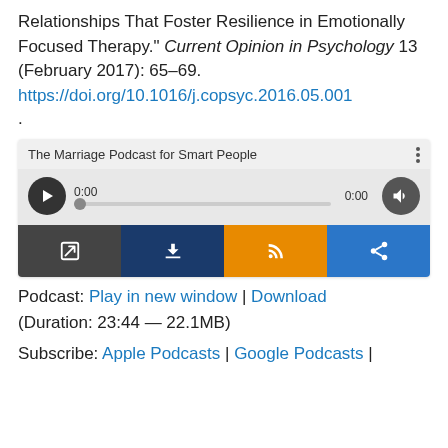Relationships That Foster Resilience in Emotionally Focused Therapy." Current Opinion in Psychology 13 (February 2017): 65–69. https://doi.org/10.1016/j.copsyc.2016.05.001 .
[Figure (screenshot): Audio podcast player widget for 'The Marriage Podcast for Smart People' showing play button, scrubber at 0:00, volume button, and four action buttons (open in new window, download, subscribe/RSS, share) in dark gray, navy, orange, and blue.]
Podcast: Play in new window | Download (Duration: 23:44 — 22.1MB)
Subscribe: Apple Podcasts | Google Podcasts |